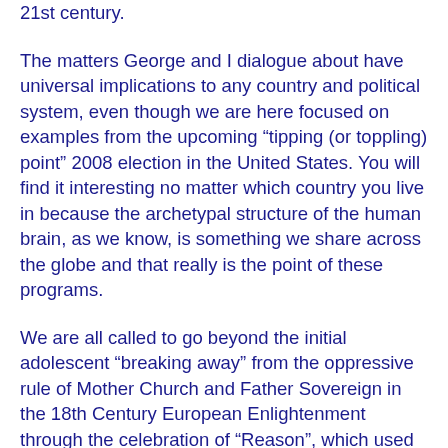21st century.
The matters George and I dialogue about have universal implications to any country and political system, even though we are here focused on examples from the upcoming “tipping (or toppling) point” 2008 election in the United States. You will find it interesting no matter which country you live in because the archetypal structure of the human brain, as we know, is something we share across the globe and that really is the point of these programs.
We are all called to go beyond the initial adolescent “breaking away” from the oppressive rule of Mother Church and Father Sovereign in the 18th Century European Enlightenment through the celebration of “Reason”, which used the printing press and widespread “democratized” dissemination of knowledge as a path to empowering the “middle class” and “the people”. We need now to make a more subtle leap of consciousness in the 21st Century. In our present